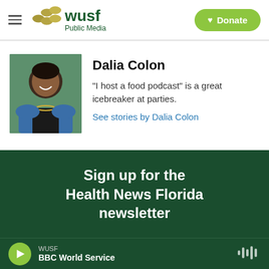WUSF Public Media — Donate
[Figure (photo): Headshot photo of Dalia Colon, a smiling woman wearing a denim jacket and statement necklace]
Dalia Colon
"I host a food podcast" is a great icebreaker at parties.
See stories by Dalia Colon
Sign up for the Health News Florida newsletter
WUSF BBC World Service